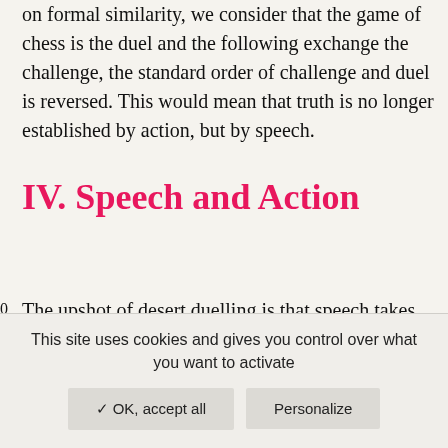on formal similarity, we consider that the game of chess is the duel and the following exchange the challenge, the standard order of challenge and duel is reversed. This would mean that truth is no longer established by action, but by speech.
IV. Speech and Action
The upshot of desert duelling is that speech takes precedence over action. It is significant that none of
This site uses cookies and gives you control over what you want to activate
✓ OK, accept all
Personalize